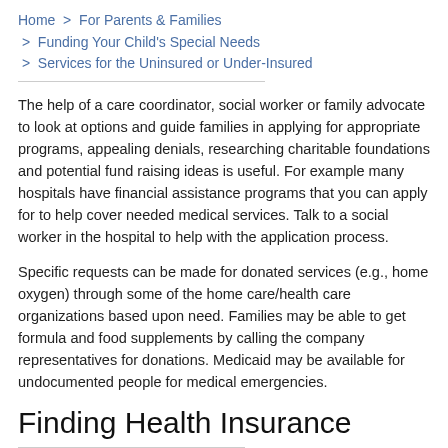Home > For Parents & Families > Funding Your Child's Special Needs > Services for the Uninsured or Under-Insured
The help of a care coordinator, social worker or family advocate to look at options and guide families in applying for appropriate programs, appealing denials, researching charitable foundations and potential fund raising ideas is useful. For example many hospitals have financial assistance programs that you can apply for to help cover needed medical services. Talk to a social worker in the hospital to help with the application process.
Specific requests can be made for donated services (e.g., home oxygen) through some of the home care/health care organizations based upon need. Families may be able to get formula and food supplements by calling the company representatives for donations. Medicaid may be available for undocumented people for medical emergencies.
Finding Health Insurance